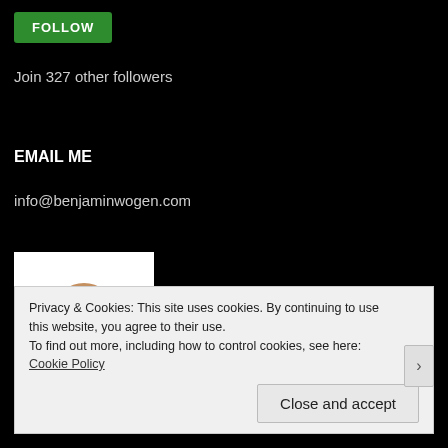FOLLOW
Join 327 other followers
EMAIL ME
info@benjaminwogen.com
[Figure (photo): Headshot of a bald smiling man in a suit, partially visible, white background]
Privacy & Cookies: This site uses cookies. By continuing to use this website, you agree to their use.
To find out more, including how to control cookies, see here: Cookie Policy
Close and accept